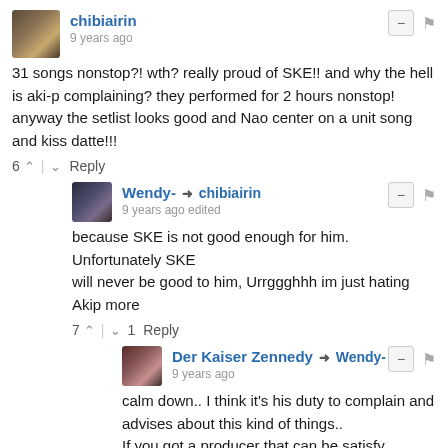chibiairin — 9 years ago
31 songs nonstop?! wth? really proud of SKE!! and why the hell is aki-p complaining? they performed for 2 hours nonstop! anyway the setlist looks good and Nao center on a unit song and kiss datte!!!
6 ↑ | ↓ Reply
Wendy- → chibiairin — 9 years ago edited
because SKE is not good enough for him. Unfortunately SKE
will never be good to him, Urrggghhh im just hating Akip more
7 ↑ | ↓ 1 Reply
Der Kaiser Zennedy → Wendy- — 9 years ago
calm down.. I think it's his duty to complain and advises about this kind of things..
If you got a producer that can be satisfy easily..that